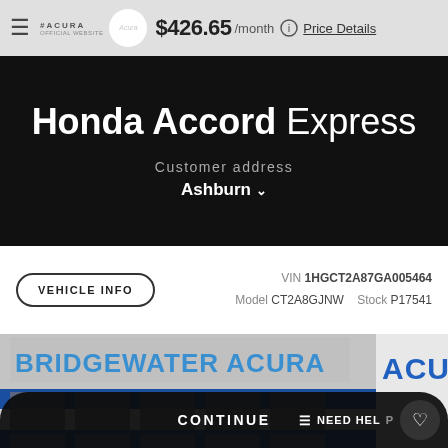≡ ACURA $426.65 /month ⓘ Price Details
Honda Accord Express
Customer address
Ashburn ∨
VEHICLE INFO   VIN 1HGCT2A87GA005464   Model CT2A8GJNW   Stock P17541
[Figure (photo): Exterior photo of Bridgewater Acura dealership building with blue signage reading 'BRIDGEWATER ACURA' and partial 'ACU' visible on right side. Building has multiple windows and a blue horizontal stripe.]
CONTINUE   ≡ NEED HELP   ♡